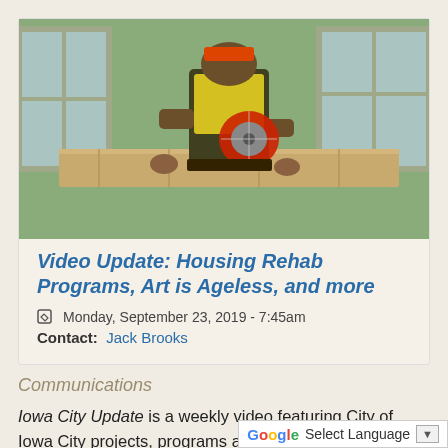[Figure (photo): A construction worker in a yellow vest cutting a wooden plank with a circular saw, inside a building with windows in the background.]
Video Update: Housing Rehab Programs, Art is Ageless, and more
Monday, September 23, 2019 - 7:45am
Contact: Jack Brooks
Communications
Iowa City Update is a weekly video featuring City of Iowa City projects, programs and events. Topics this week include different ways the City can help fund your housing rehab project, an art auction that benefits the Senior Center, and more. Click the image